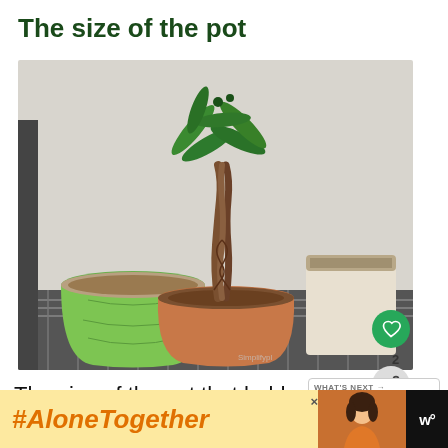The size of the pot
[Figure (photo): Photo of three plant pots on a wire shelf: a green ceramic pot on the left, a terracotta bowl pot in the center with a braided money tree plant, and a white square pot on the right. Gray wall background. Simplifyplants watermark visible. Heart icon (2 likes) and share icon overlaid on right side.]
The size of the pot that holds yo money tree can determine the growth
[Figure (infographic): What's Next card: small palm tree icon, text 'What Kind Of Pot Is Best F...']
[Figure (infographic): Bottom advertisement bar: yellow/orange background with #AloneTogether hashtag in orange italic text, a photo of a woman, and a dark logo on the right.]